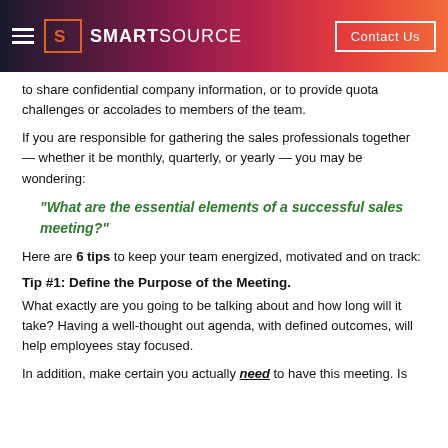SMARTSOURCE | Contact Us
to share confidential company information, or to provide quota challenges or accolades to members of the team.
If you are responsible for gathering the sales professionals together — whether it be monthly, quarterly, or yearly — you may be wondering:
"What are the essential elements of a successful sales meeting?"
Here are 6 tips to keep your team energized, motivated and on track:
Tip #1: Define the Purpose of the Meeting.
What exactly are you going to be talking about and how long will it take? Having a well-thought out agenda, with defined outcomes, will help employees stay focused.
In addition, make certain you actually need to have this meeting. Is